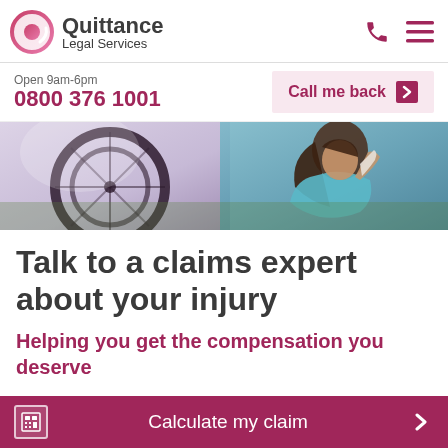[Figure (logo): Quittance Legal Services logo with circular pink/magenta icon and dark text]
Open 9am-6pm
0800 376 1001
Call me back ▶
[Figure (photo): Hero image showing a woman with a bicycle, wearing a teal top, looking at the camera]
Talk to a claims expert about your injury
Helping you get the compensation you deserve
Calculate my claim ▶